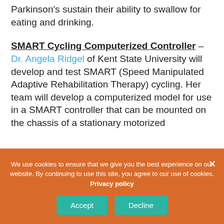Parkinson's sustain their ability to swallow for eating and drinking.
SMART Cycling Computerized Controller – Dr. Angela Ridgel of Kent State University will develop and test SMART (Speed Manipulated Adaptive Rehabilitation Therapy) cycling. Her team will develop a computerized model for use in a SMART controller that can be mounted on the chassis of a stationary motorized
We use cookies to ensure that we give you the best experience on our website. By continuing to use this site, you agree to our use of cookies. Privacy policy
Accept
Decline